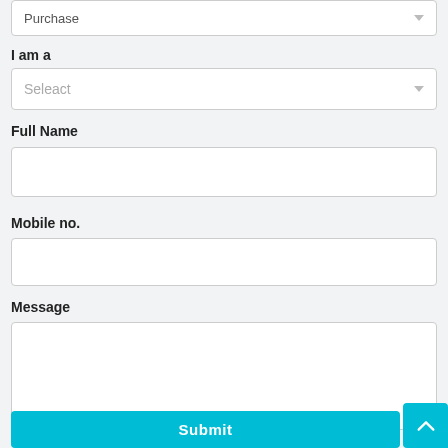Purchase
I am a
Seleact
Full Name
Mobile no.
Message
Submit